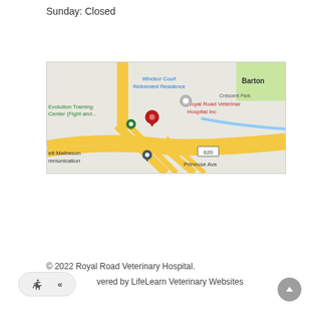Sunday: Closed
[Figure (map): Google Maps screenshot showing Royal Road Veterinary Hospital Inc location near intersection with Barton, Windsor Court Retirement Residence, Evolution Training Center (Fight and...), ett Matheson mmunication, Primrose Ave, and route 620 visible.]
© 2022 Royal Road Veterinary Hospital.
Powered by LifeLearn Veterinary Websites